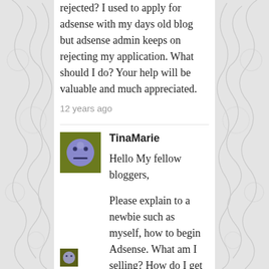rejected? I used to apply for adsense with my days old blog but adsense admin keeps on rejecting my application. What should I do? Your help will be valuable and much appreciated.
12 years ago
[Figure (illustration): Avatar icon of TinaMarie — a green square background with a purple smiley face with neutral expression]
TinaMarie
Hello My fellow bloggers,

Please explain to a newbie such as myself, how to begin Adsense. What am I selling? How do I get started?
12 years ago